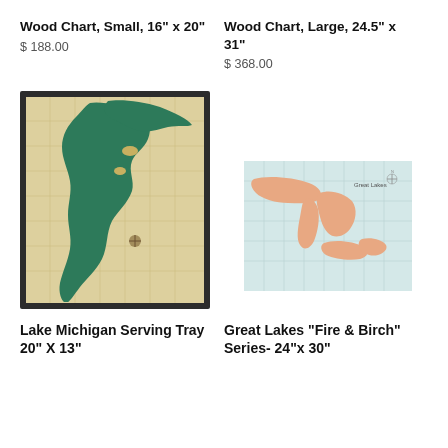Wood Chart, Small, 16" x 20"
$ 188.00
Wood Chart, Large, 24.5" x 31"
$ 368.00
[Figure (photo): Framed wood chart of Lake Michigan, topographic/bathymetric layered engraving, dark frame, green and tan tones]
[Figure (map): Great Lakes Fire and Birch series map, light blue background with salmon/peach colored lake outlines and land masses]
Lake Michigan Serving Tray 20" X 13"
Great Lakes "Fire & Birch" Series- 24"x 30"